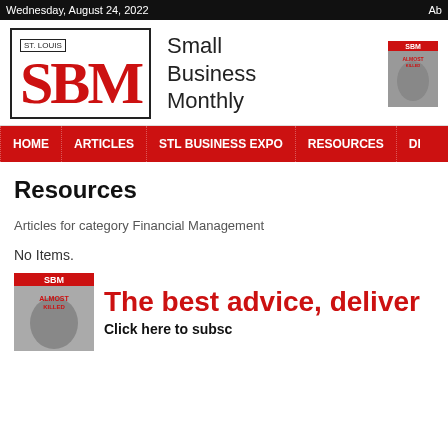Wednesday, August 24, 2022 | Ab
[Figure (logo): ST. LOUIS SBM Small Business Monthly logo with red block letters and magazine cover image]
HOME | ARTICLES | STL BUSINESS EXPO | RESOURCES | DI
Resources
Articles for category Financial Management
No Items.
[Figure (illustration): SBM magazine cover advertisement: The best advice, delivered. Click here to subscribe.]